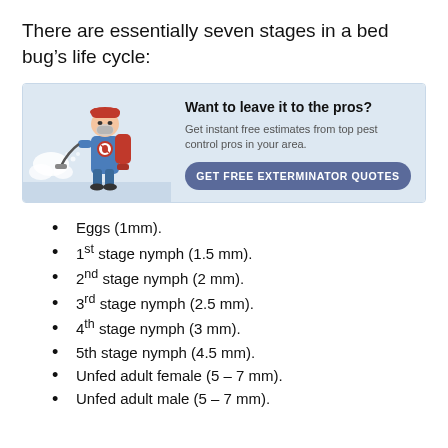There are essentially seven stages in a bed bug’s life cycle:
[Figure (infographic): Advertisement box with an illustration of a pest control worker in blue uniform and red cap spraying pesticide, alongside text 'Want to leave it to the pros? Get instant free estimates from top pest control pros in your area.' and a button 'GET FREE EXTERMINATOR QUOTES']
Eggs (1mm).
1st stage nymph (1.5 mm).
2nd stage nymph (2 mm).
3rd stage nymph (2.5 mm).
4th stage nymph (3 mm).
5th stage nymph (4.5 mm).
Unfed adult female (5 – 7 mm).
Unfed adult male (5 – 7 mm).